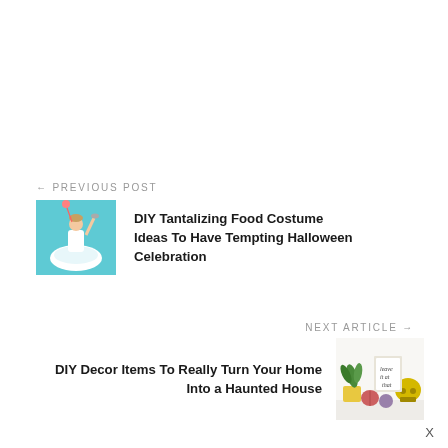← PREVIOUS POST
[Figure (photo): Person in a white bowl cereal costume on a blue/teal background, holding a spoon aloft]
DIY Tantalizing Food Costume Ideas To Have Tempting Halloween Celebration
NEXT ARTICLE →
DIY Decor Items To Really Turn Your Home Into a Haunted House
[Figure (photo): Haunted house decor items including a skull, painted pumpkins, plant, and framed art on a white surface]